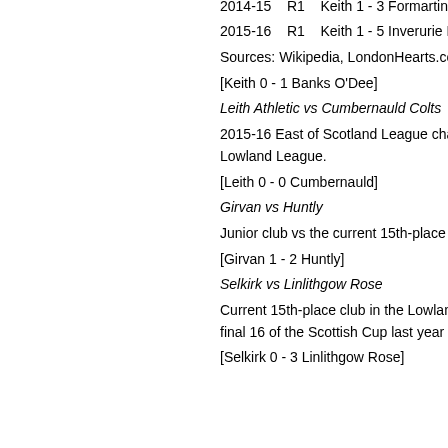R2   Keith 0 - 4 Elgin City
2014-15   R1   Keith 1 - 3 Formartine U
2015-16   R1   Keith 1 - 5 Inverurie Loco
Sources: Wikipedia, LondonHearts.com
[Keith 0 - 1 Banks O'Dee]
Leith Athletic vs Cumbernauld Colts
2015-16 East of Scotland League champ Lowland League.
[Leith 0 - 0 Cumbernauld]
Girvan vs Huntly
Junior club vs the current 15th-place club
[Girvan 1 - 2 Huntly]
Selkirk vs Linlithgow Rose
Current 15th-place club in the Lowland L final 16 of the Scottish Cup last year
[Selkirk 0 - 3 Linlithgow Rose]